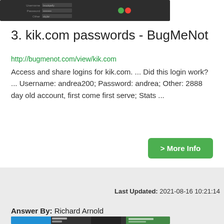[Figure (screenshot): Dark-themed login form screenshot showing Username, Password, Other fields with a green and red button]
3. kik.com passwords - BugMeNot
http://bugmenot.com/view/kik.com
Access and share logins for kik.com. ... Did this login work? ... Username: andrea200; Password: andrea; Other: 2888 day old account, first come first serve; Stats ...
> More Info
Last Updated: 2021-08-16 10:21:14
Answer By: Richard Arnold
[Figure (screenshot): Bottom screenshot showing a website with Twitter-style header and green branding elements]